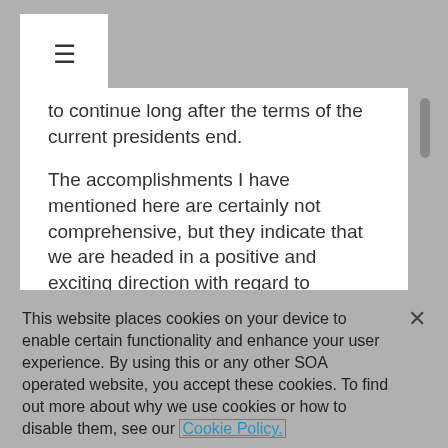to continue long after the terms of the current presidents end.
The accomplishments I have mentioned here are certainly not comprehensive, but they indicate that we are headed in a positive and exciting direction with regard to interorganizational cooperation. This effort is a work in progress–one that will take time, energy and the highest level of commitment, and in my
This website places cookies on your device to enable certain functionality and enhance your user experience. By using this or any other SOA operated website, you accept these cookies. To find out more about why we use cookies or how to disable them, see our Cookie Policy.
Accept Cookies